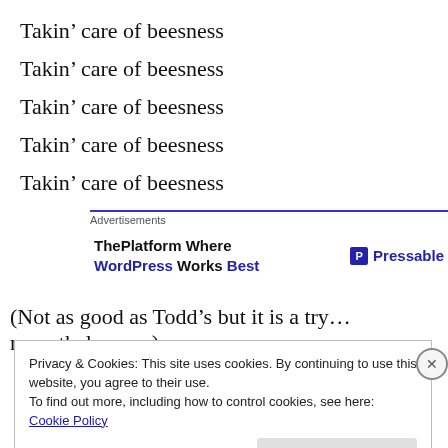Takin’ care of beesness
Takin’ care of beesness
Takin’ care of beesness
Takin’ care of beesness
Takin’ care of beesness
[Figure (other): Advertisements banner: ThePlatform Where WordPress Works Best | Pressable]
(Not as good as Todd’s but it is a try… nevertheless…. )
Privacy & Cookies: This site uses cookies. By continuing to use this website, you agree to their use. To find out more, including how to control cookies, see here: Cookie Policy